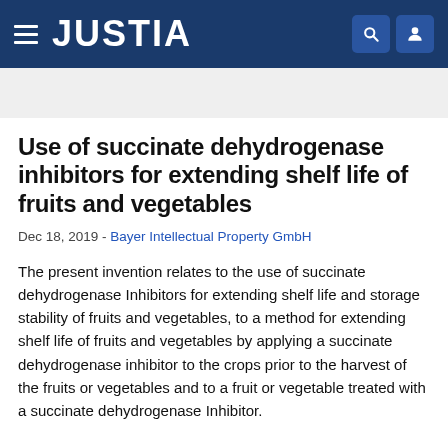JUSTIA
Use of succinate dehydrogenase inhibitors for extending shelf life of fruits and vegetables
Dec 18, 2019 - Bayer Intellectual Property GmbH
The present invention relates to the use of succinate dehydrogenase Inhibitors for extending shelf life and storage stability of fruits and vegetables, to a method for extending shelf life of fruits and vegetables by applying a succinate dehydrogenase inhibitor to the crops prior to the harvest of the fruits or vegetables and to a fruit or vegetable treated with a succinate dehydrogenase Inhibitor.